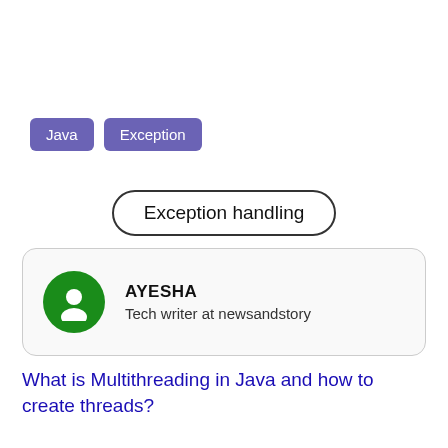Java
Exception
Exception handling
AYESHA
Tech writer at newsandstory
What is Multithreading in Java and how to create threads?